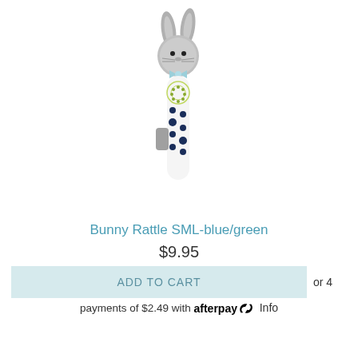[Figure (photo): A knitted gray bunny rattle toy on a stick, with blue and white polka dot handle, blue bow, and a tab on the side.]
Bunny Rattle SML-blue/green
$9.95
ADD TO CART
or 4 payments of $2.49 with afterpay Info